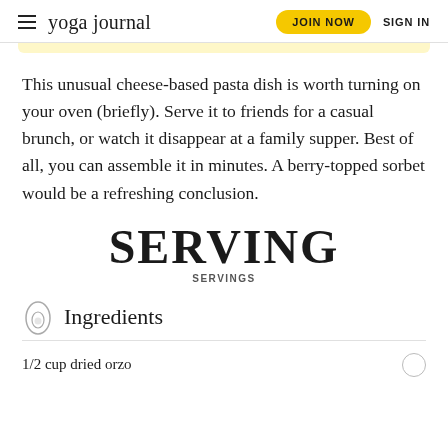yoga journal | JOIN NOW | SIGN IN
This unusual cheese-based pasta dish is worth turning on your oven (briefly). Serve it to friends for a casual brunch, or watch it disappear at a family supper. Best of all, you can assemble it in minutes. A berry-topped sorbet would be a refreshing conclusion.
SERVING
SERVINGS
Ingredients
1/2 cup dried orzo